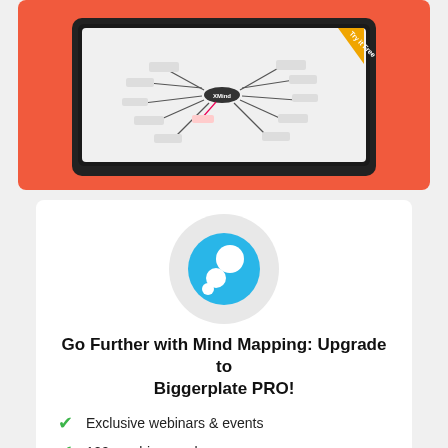[Figure (screenshot): Laptop screenshot showing a mind mapping application interface with a coral/red-orange background and a 'Try it Free' badge in the top-right corner.]
[Figure (logo): Biggerplate logo: blue circle with white dots (chat/question mark style icon) on a light grey circular background.]
Go Further with Mind Mapping: Upgrade to Biggerplate PRO!
Exclusive webinars & events
100+ webinar replays
Exclusive software discounts
Image library access